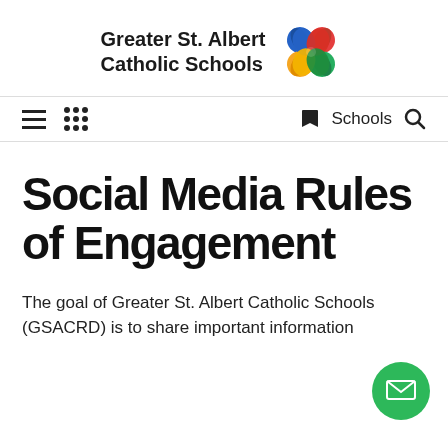[Figure (logo): Greater St. Albert Catholic Schools logo with colorful four-petal flower/clover shape and bold text]
= ::: Schools 🔍
Social Media Rules of Engagement
The goal of Greater St. Albert Catholic Schools (GSACRD) is to share important information